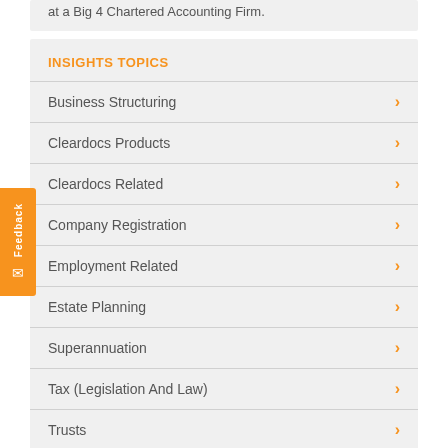at a Big 4 Chartered Accounting Firm.
INSIGHTS TOPICS
Business Structuring
Cleardocs Products
Cleardocs Related
Company Registration
Employment Related
Estate Planning
Superannuation
Tax (Legislation And Law)
Trusts